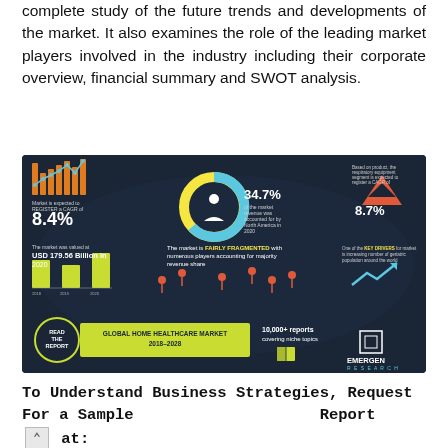complete study of the future trends and developments of the market. It also examines the role of the leading market players involved in the industry including their corporate overview, financial summary and SWOT analysis.
[Figure (infographic): Global Home Healthcare Market 2018-2028 infographic by Emergen Research. Key stats: Market expected to register a CAGR of 8.4%; 34.7% of market revenue accounted for by North America in 2020; Based on product, respiratory equipment segment expected to register a CAGR of 8.7%; Market valued at USD 179.56 Billion in 2020; Market is FAIRLY FRAGMENTED with numerous players accounting for majority revenue share; One of the KEY DRIVERS is increasing number of geriatric population around the world; 10,000+ reports covering niche topics.]
To Understand Business Strategies, Request For a Sample Report at: https://www.emergenresearch.com/request-sample/1084